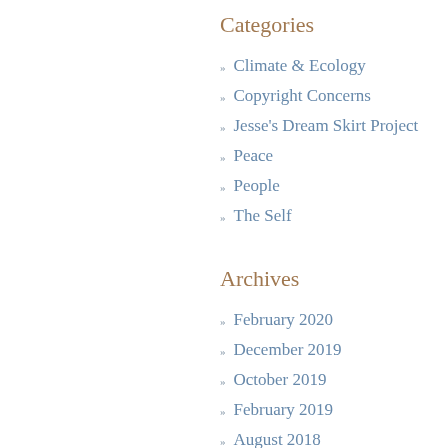Categories
Climate & Ecology
Copyright Concerns
Jesse's Dream Skirt Project
Peace
People
The Self
Archives
February 2020
December 2019
October 2019
February 2019
August 2018
July 2018
June 2018